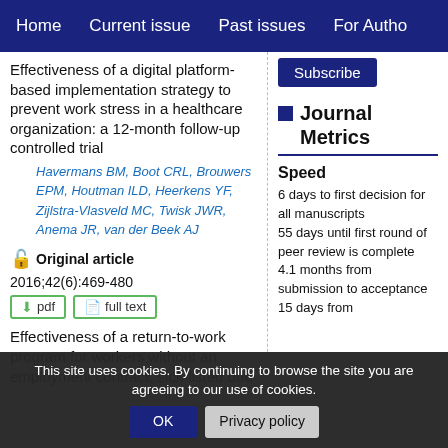Home | Current issue | Past issues | For Authors
Effectiveness of a digital platform-based implementation strategy to prevent work stress in a healthcare organization: a 12-month follow-up controlled trial
Havermans BM, Boot CRL, Brouwers EPM, Houtman ILD, Heerkens YF, Zijlstra-Vlasveld MC, Twisk JWR, Anema JR, van der Beek AJ
Original article 2016;42(6):469-480
pdf  full text
Effectiveness of a return-to-work program for workers without an employment contract, sick-listed due to common mental disorders
Lammerts L, Schaafsma FO, Machelan W, Anema JR
Subscribe
Journal Metrics
Speed
6 days to first decision for all manuscripts
55 days until first round of peer review is complete
4.1 months from submission to acceptance
15 days from
This site uses cookies. By continuing to browse the site you are agreeing to our use of cookies.